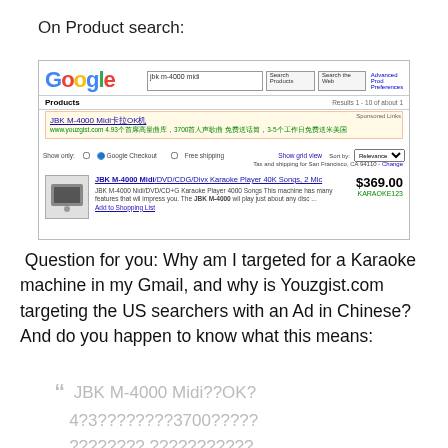On Product search:
[Figure (screenshot): Google Product Search screenshot showing results for 'jbk m-4000 midi'. Shows a sponsored ad from youzgist.com in Chinese text, and a product result for JBK M-4000 Midi DVD/CDG/Divx Karaoke Player 40K Songs, 2 Mic priced at $369.00 from KARAOKE123.]
Question for you: Why am I targeted for a Karaoke machine in my Gmail, and why is Youzgist.com targeting the US searchers with an Ad in Chinese? And do you happen to know what this means:
“  JBK M-4000 Midi??OK?
4?3????????3700?????
????????????????????????